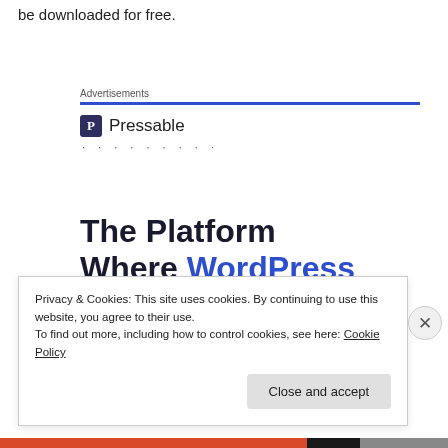be downloaded for free.
Advertisements
[Figure (other): Pressable advertisement block with logo, dots, and headline text: 'The Platform Where WordPress Works Best']
Privacy & Cookies: This site uses cookies. By continuing to use this website, you agree to their use.
To find out more, including how to control cookies, see here: Cookie Policy